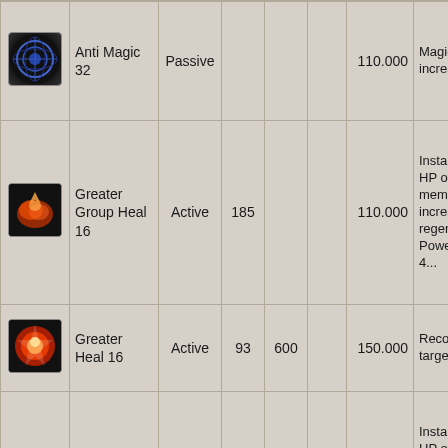| Icon | Name | Type | Col4 | Col5 | Col6 | Cost | Description |
| --- | --- | --- | --- | --- | --- | --- | --- |
| [icon] | Anti Magic 32 | Passive |  |  |  | 110.000 | Magic resistance increase... |
| [icon] | Greater Group Heal 16 | Active | 185 |  |  | 110.000 | Instantly recovers HP of party members and increases HP regeneration Power 2... Effect 4... |
| [icon] | Greater Heal 16 | Active | 93 | 600 |  | 150.000 | Recovers target's... |
| [icon] | Greater Group Heal 17 | Active | 189 |  |  | 110.000 | Instantly recovers HP of party members and increases HP regeneration Power 2... Effect 4... |